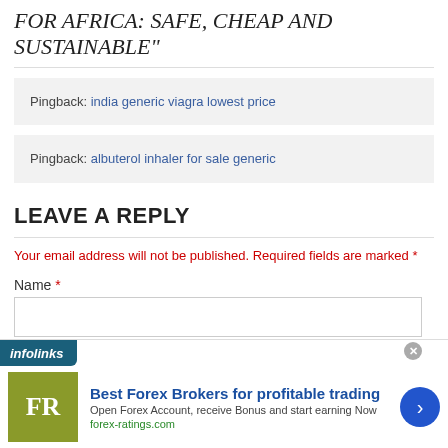FOR AFRICA: SAFE, CHEAP AND SUSTAINABLE"
Pingback: india generic viagra lowest price
Pingback: albuterol inhaler for sale generic
LEAVE A REPLY
Your email address will not be published. Required fields are marked *
Name *
[Figure (screenshot): Infolinks advertisement bar with Forex Brokers ad: 'Best Forex Brokers for profitable trading', 'Open Forex Account, receive Bonus and start earning Now', forex-ratings.com]